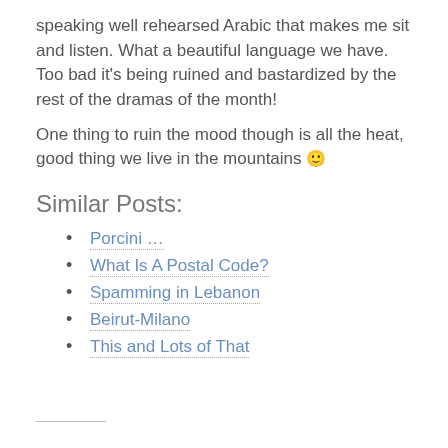speaking well rehearsed Arabic that makes me sit and listen. What a beautiful language we have. Too bad it's being ruined and bastardized by the rest of the dramas of the month!
One thing to ruin the mood though is all the heat, good thing we live in the mountains 🙂
Similar Posts:
Porcini …
What Is A Postal Code?
Spamming in Lebanon
Beirut-Milano
This and Lots of That